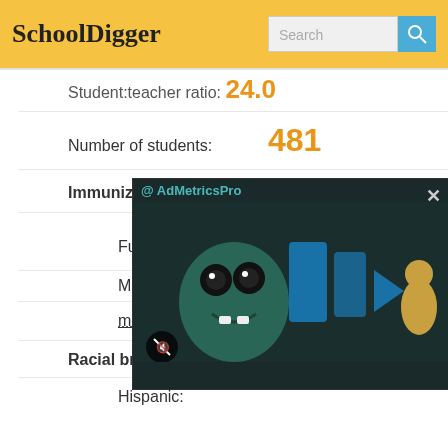SchoolDigger | Search
Student:teacher ratio: 24.0
Number of students: 481
Immunizations:
Fully immunized: 96.0%
Measles:
more
Racial breakdown:
Hispanic:
[Figure (screenshot): AdMetricsPro video ad overlay showing a cartoon monster character and play button graphic, with a close button (X) and mute button]